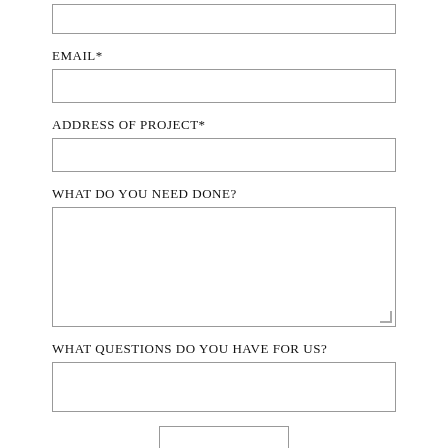EMAIL*
ADDRESS OF PROJECT*
WHAT DO YOU NEED DONE?
WHAT QUESTIONS DO YOU HAVE FOR US?